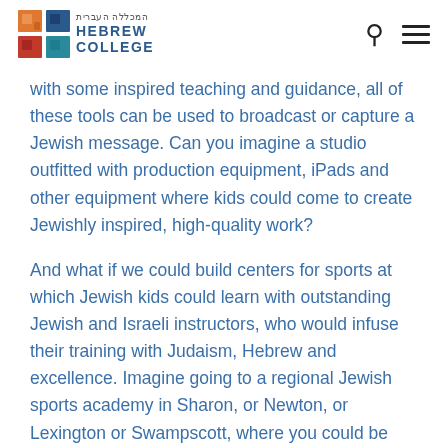Hebrew College
with some inspired teaching and guidance, all of these tools can be used to broadcast or capture a Jewish message. Can you imagine a studio outfitted with production equipment, iPads and other equipment where kids could come to create Jewishly inspired, high-quality work?
And what if we could build centers for sports at which Jewish kids could learn with outstanding Jewish and Israeli instructors, who would infuse their training with Judaism, Hebrew and excellence. Imagine going to a regional Jewish sports academy in Sharon, or Newton, or Lexington or Swampscott, where you could be trained and compete at the highest levels in soccer, basketball and tennis.